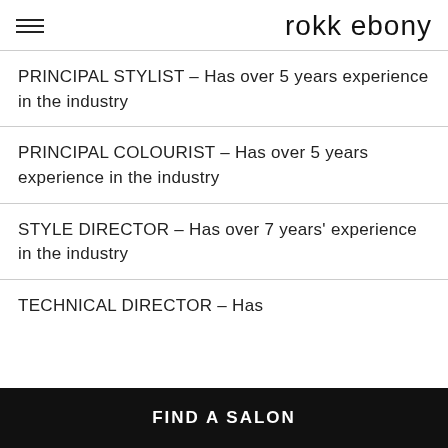rokk ebony
PRINCIPAL STYLIST – Has over 5 years experience in the industry
PRINCIPAL COLOURIST – Has over 5 years experience in the industry
STYLE DIRECTOR – Has over 7 years' experience in the industry
TECHNICAL DIRECTOR – Has
FIND A SALON